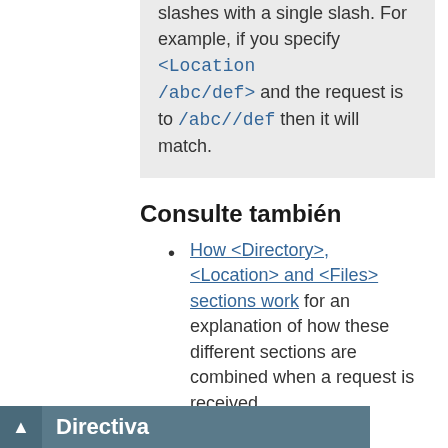slashes with a single slash. For example, if you specify <Location /abc/def> and the request is to /abc//def then it will match.
Consulte también
How <Directory>, <Location> and <Files> sections work for an explanation of how these different sections are combined when a request is received.
LocationMatch
Directiva